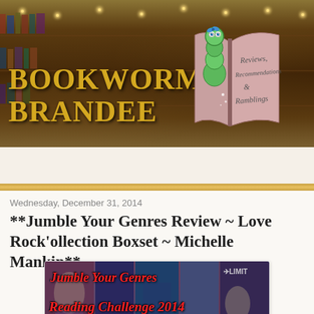[Figure (illustration): Bookworm Brandee blog banner with dark library background, green bookworm cartoon reading a pink book, yellow serif title text 'BOOKWORM BRANDEE', and handwritten text on book 'Reviews, Recommendations & Ramblings']
Home ▼
Wednesday, December 31, 2014
**Jumble Your Genres Review ~ Love Rock'ollection Boxset ~ Michelle Mankin**
[Figure (illustration): Jumble Your Genres Reading Challenge 2014 promotional image with collage of book covers and bold red italic text]